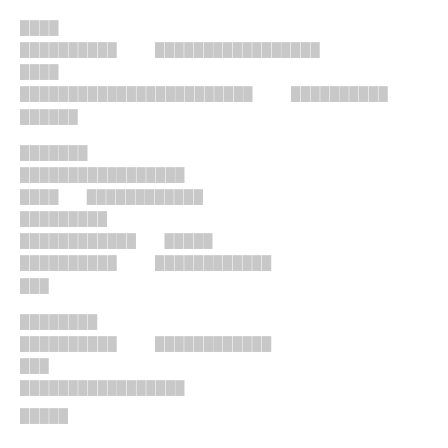████
██████████   █████████████████
████
████████████████████████   ██████████
██████
███████
█████████████████
████   ████████████
█████████
████████████   █████
██████████   ████████████
███
████████
█████████   ████████████
███
█████████████████
█████